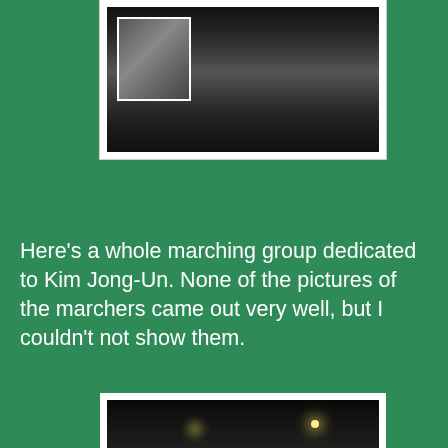[Figure (photo): A partial photo at the top of the page showing a night scene, a person holding what appears to be a trading card/photo, with debris on the ground and a banner visible in the background.]
Here's a whole marching group dedicated to Kim Jong-Un. None of the pictures of the marchers came out very well, but I couldn't not show them.
[Figure (photo): A nighttime photo of a marching group of people on a street, with street lights illuminating the scene. People are dressed in dark clothing and appear to be marching in a group.]
[Figure (photo): A partial photo at the bottom of the page, partially visible, showing another scene from the event.]